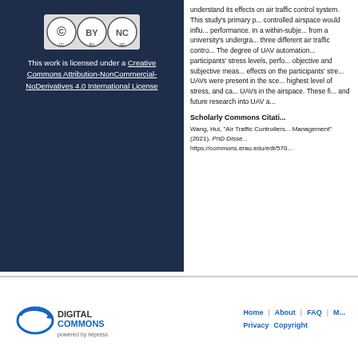[Figure (logo): Creative Commons BY-NC-ND license badge]
This work is licensed under a Creative Commons Attribution-NonCommercial-NoDerivatives 4.0 International License
understand its effects on air traffic control system. This study's primary purpose was to determine how controlled airspace would influence air traffic controllers' performance. In a within-subject design, participants from a university's undergraduate program were exposed to three different air traffic control scenarios with UAVs. The degree of UAV automation was found to affect participants' stress levels, performance, and workload using objective and subjective measures. UAVs had significant effects on the participants' stress levels. When manual UAVs were present in the scenario, participants reported the highest level of stress, and came closest when monitoring UAVs in the airspace. These findings have implications for and future research into UAV airspace integration.
Scholarly Commons Citation
Wang, Hui, "Air Traffic Controllers' Performance in UAV Traffic Management" (2021). PhD Dissertations and Master's Theses. https://commons.erau.edu/edt/570
[Figure (logo): Digital Commons powered by bepress logo]
Home | About | FAQ | M Privacy Copyright